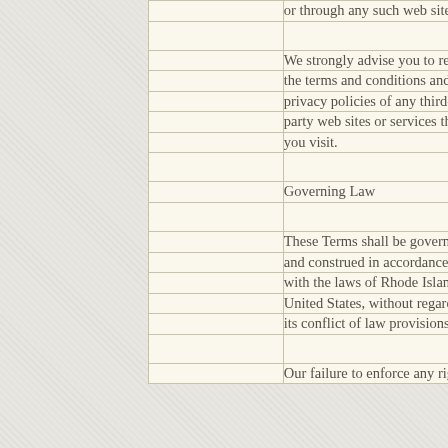|  | or through any such web sites or services. |
|  |  |
|  | We strongly advise you to read the terms and conditions and privacy policies of any third-party web sites or services that you visit. |
|  |  |
|  | Governing Law |
|  |  |
|  | These Terms shall be governed and construed in accordance with the laws of Rhode Island, United States, without regard to its conflict of law provisions. |
|  |  |
|  | Our failure to enforce any right |